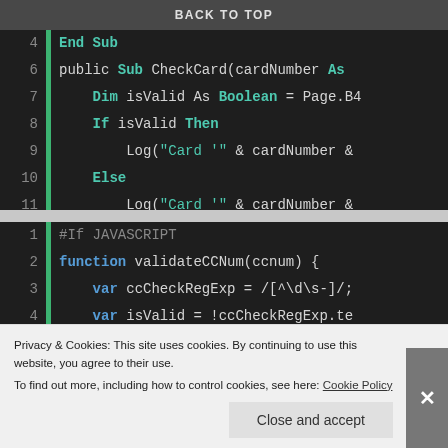[Figure (screenshot): Code editor screenshot showing VB.NET code block with line numbers 4-13. Lines show End Sub, public Sub CheckCard, Dim isValid, If/Else/End If logic with Log calls.]
BACK TO TOP
[Figure (screenshot): Code editor screenshot showing JavaScript code block with line numbers 1-8. Lines show #If JAVASCRIPT, function validateCCNum, var ccCheckRegExp, var isValid, var i, if (isValid), var cardNumbersOnly, var cardNumberLength.]
Privacy & Cookies: This site uses cookies. By continuing to use this website, you agree to their use.
To find out more, including how to control cookies, see here: Cookie Policy
Close and accept